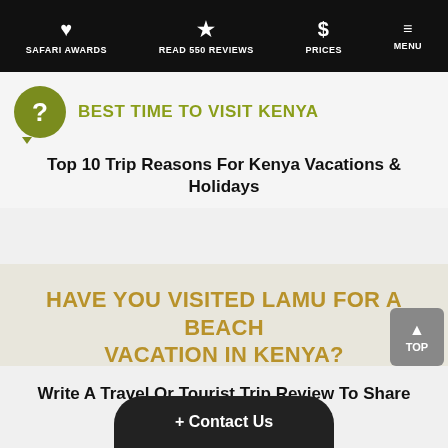SAFARI AWARDS | READ 550 REVIEWS | PRICES | MENU
BEST TIME TO VISIT KENYA
Top 10 Trip Reasons For Kenya Vacations & Holidays
HAVE YOU VISITED LAMU FOR A BEACH VACATION IN KENYA?
Write A Travel Or Tourist Trip Review To Share Your Experiences
WRITE LAMU REVIEW
+ Contact Us